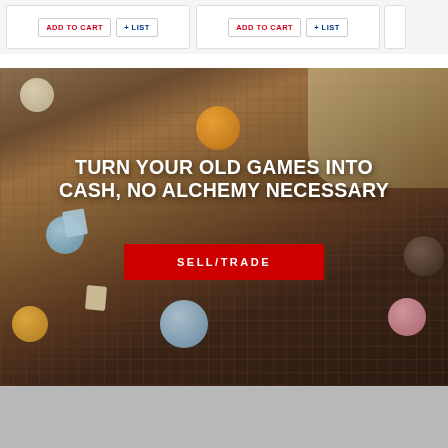[Figure (screenshot): Two product cards each with ADD TO CART and + LIST buttons on white background]
[Figure (photo): Board game components (tokens, tiles) on a game board with overlay text and SELL/TRADE button]
TURN YOUR OLD GAMES INTO CASH, NO ALCHEMY NECESSARY
SELL/TRADE
[Figure (photo): Gray section at the bottom of the page]